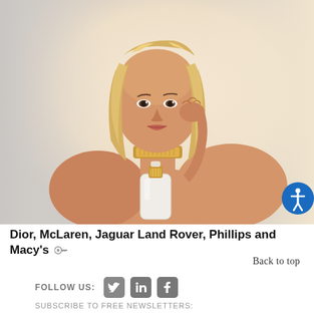[Figure (photo): Woman with blonde wavy hair, holding a perfume bottle near her chin/neck, wearing a gold choker necklace, bare shoulders, against a light gradient background. Dior J'adore fragrance advertisement.]
Dior, McLaren, Jaguar Land Rover, Phillips and Macy's
Back to top
FOLLOW US:
SUBSCRIBE TO FREE NEWSLETTERS: